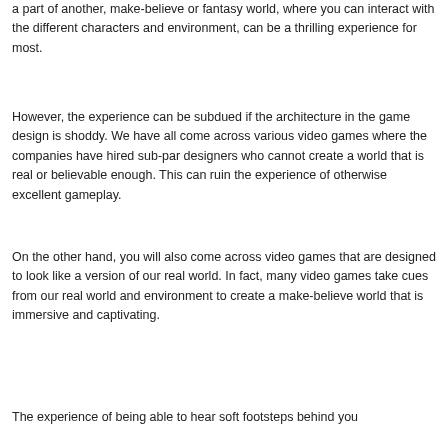a part of another, make-believe or fantasy world, where you can interact with the different characters and environment, can be a thrilling experience for most.
However, the experience can be subdued if the architecture in the game design is shoddy. We have all come across various video games where the companies have hired sub-par designers who cannot create a world that is real or believable enough. This can ruin the experience of otherwise excellent gameplay.
On the other hand, you will also come across video games that are designed to look like a version of our real world. In fact, many video games take cues from our real world and environment to create a make-believe world that is immersive and captivating.
The experience of being able to hear soft footsteps behind you